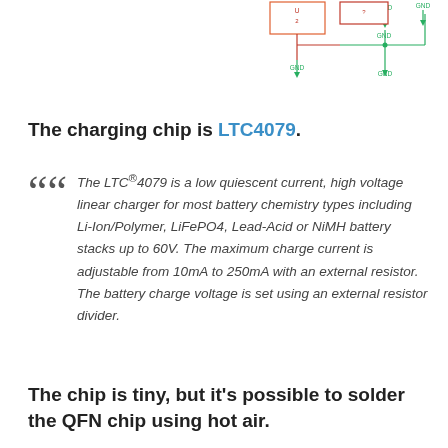[Figure (schematic): Partial electronic schematic showing GND symbols, component connectors, and labeled nets including GND nodes at top of page.]
The charging chip is LTC4079.
The LTC®4079 is a low quiescent current, high voltage linear charger for most battery chemistry types including Li-Ion/Polymer, LiFePO4, Lead-Acid or NiMH battery stacks up to 60V. The maximum charge current is adjustable from 10mA to 250mA with an external resistor. The battery charge voltage is set using an external resistor divider.
The chip is tiny, but it's possible to solder the QFN chip using hot air.